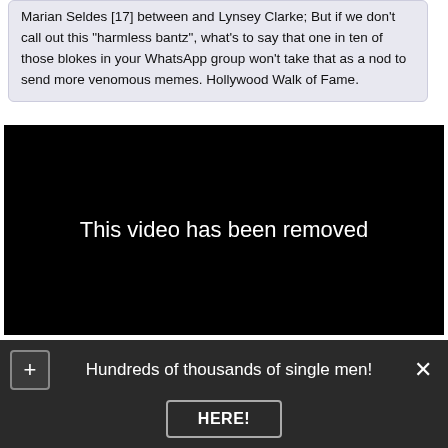Marian Seldes [17] between and Lynsey Clarke; But if we don't call out this "harmless bantz", what's to say that one in ten of those blokes in your WhatsApp group won't take that as a nod to send more venomous memes. Hollywood Walk of Fame.
[Figure (screenshot): Black video player frame displaying the text 'This video has been removed' in white centered text on a black background.]
Hundreds of thousands of single men!
HERE!